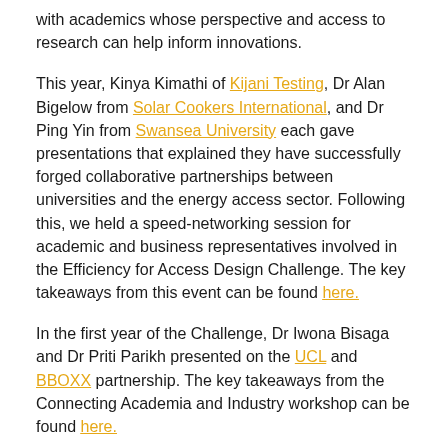with academics whose perspective and access to research can help inform innovations.
This year, Kinya Kimathi of Kijani Testing, Dr Alan Bigelow from Solar Cookers International, and Dr Ping Yin from Swansea University each gave presentations that explained they have successfully forged collaborative partnerships between universities and the energy access sector. Following this, we held a speed-networking session for academic and business representatives involved in the Efficiency for Access Design Challenge. The key takeaways from this event can be found here.
In the first year of the Challenge, Dr Iwona Bisaga and Dr Priti Parikh presented on the UCL and BBOXX partnership. The key takeaways from the Connecting Academia and Industry workshop can be found here.
In the second year of the Challenge, Biraj Gautam and Sam Williamson presented on the PEEDA and University of Bristol partnership. The key takeaways from the Connecting Academia and Industry workshop can be found here.